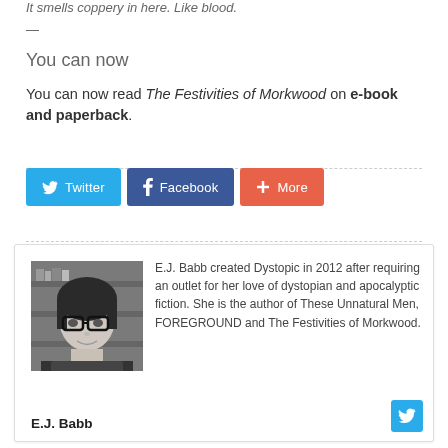It smells coppery in here. Like blood.
—
You can now
You can now read The Festivities of Morkwood on e-book and paperback.
[Figure (other): Social share buttons: Twitter, Facebook, More]
[Figure (other): Author bio box with grayscale photo of E.J. Babb, bio text, author name, and Twitter icon]
E.J. Babb created Dystopic in 2012 after requiring an outlet for her love of dystopian and apocalyptic fiction. She is the author of These Unnatural Men, FOREGROUND and The Festivities of Morkwood.
E.J. Babb